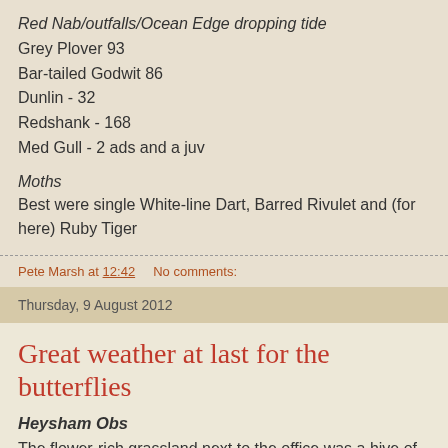Red Nab/outfalls/Ocean Edge dropping tide
Grey Plover 93
Bar-tailed Godwit 86
Dunlin - 32
Redshank - 168
Med Gull - 2 ads and a juv
Moths
Best were single White-line Dart, Barred Rivulet and (for here) Ruby Tiger
Pete Marsh at 12:42    No comments:
Thursday, 9 August 2012
Great weather at last for the butterflies
Heysham Obs
The flower-rich grassland next to the office was a hive of activity today with Meadow Brown, Gatekeeper and